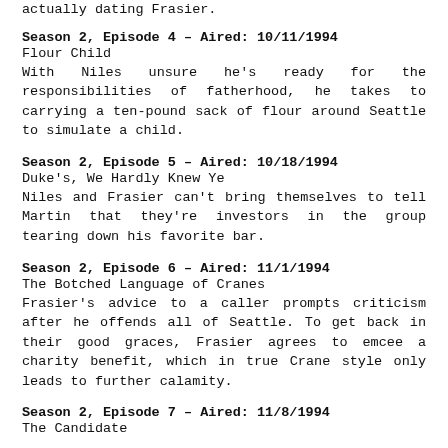actually dating Frasier.
Season 2, Episode 4 – Aired: 10/11/1994
Flour Child
With Niles unsure he's ready for the responsibilities of fatherhood, he takes to carrying a ten-pound sack of flour around Seattle to simulate a child.
Season 2, Episode 5 – Aired: 10/18/1994
Duke's, We Hardly Knew Ye
Niles and Frasier can't bring themselves to tell Martin that they're investors in the group tearing down his favorite bar.
Season 2, Episode 6 – Aired: 11/1/1994
The Botched Language of Cranes
Frasier's advice to a caller prompts criticism after he offends all of Seattle. To get back in their good graces, Frasier agrees to emcee a charity benefit, which in true Crane style only leads to further calamity.
Season 2, Episode 7 – Aired: 11/8/1994
The Candidate